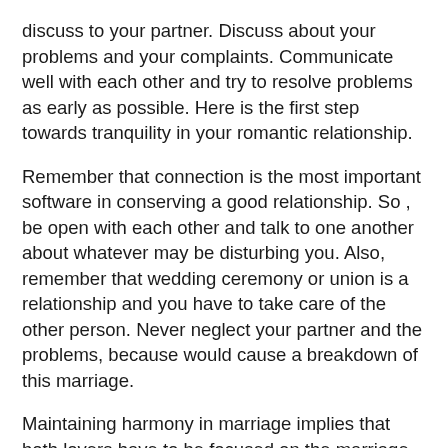discuss to your partner. Discuss about your problems and your complaints. Communicate well with each other and try to resolve problems as early as possible. Here is the first step towards tranquility in your romantic relationship.
Remember that connection is the most important software in conserving a good relationship. So , be open with each other and talk to one another about whatever may be disturbing you. Also, remember that wedding ceremony or union is a relationship and you have to take care of the other person. Never neglect your partner and the problems, because would cause a breakdown of this marriage.
Maintaining harmony in marriage implies that both lovers have to be focused on the marriage. There ought to be mutual understanding and respect between the two partners. Complete commitment via both parties is extremely essential when trying to maintain a harmonious relationship. Marriages are not convenient. However , if perhaps both associates truly love each other they may always find…